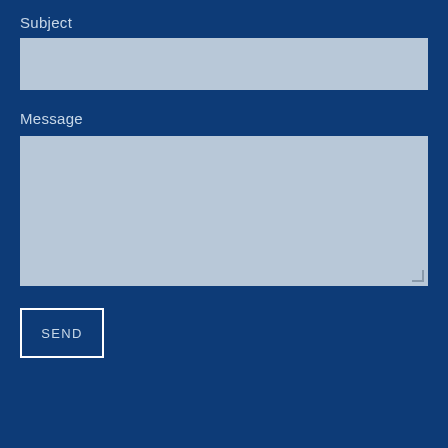Subject
[Figure (screenshot): Empty subject input text field with light blue-grey background]
Message
[Figure (screenshot): Empty message textarea with light blue-grey background and resize handle]
SEND